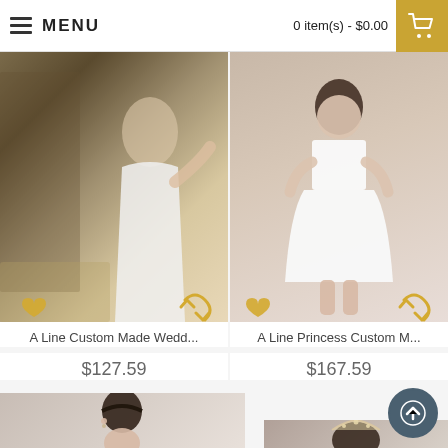MENU   0 item(s) - $0.00
[Figure (photo): Woman in white A-line short wedding dress posing in front of ornate mirror with vintage furniture]
A Line Custom Made Wedd...
$127.59
[Figure (photo): Woman in white A-line princess short wedding dress with lace bodice standing in neutral studio setting]
A Line Princess Custom M...
$167.59
[Figure (photo): Partial view of woman in wedding dress, bottom portion cut off]
[Figure (photo): Partial view of woman in wedding dress with tiara, bottom portion cut off]